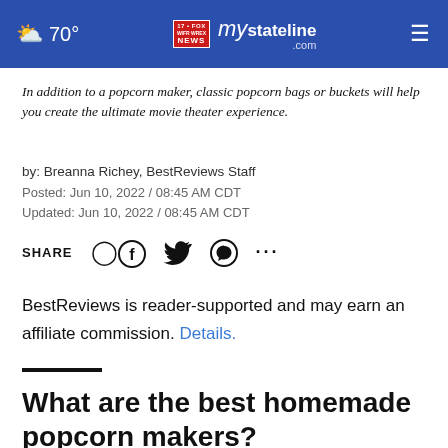70° | mystateline.com
In addition to a popcorn maker, classic popcorn bags or buckets will help you create the ultimate movie theater experience.
by: Breanna Richey, BestReviews Staff
Posted: Jun 10, 2022 / 08:45 AM CDT
Updated: Jun 10, 2022 / 08:45 AM CDT
SHARE
BestReviews is reader-supported and may earn an affiliate commission. Details.
What are the best homemade popcorn makers?